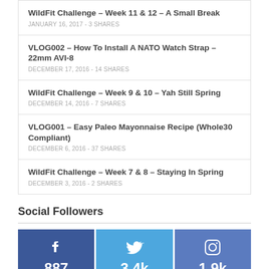WildFit Challenge – Week 11 & 12 – A Small Break
JANUARY 16, 2017 - 3 SHARES
VLOG002 – How To Install A NATO Watch Strap – 22mm AVI-8
DECEMBER 17, 2016 - 14 SHARES
WildFit Challenge – Week 9 & 10 – Yah Still Spring
DECEMBER 14, 2016 - 7 SHARES
VLOG001 – Easy Paleo Mayonnaise Recipe (Whole30 Compliant)
DECEMBER 6, 2016 - 37 SHARES
WildFit Challenge – Week 7 & 8 – Staying In Spring
DECEMBER 3, 2016 - 2 SHARES
Social Followers
[Figure (infographic): Three social media follower count cards: Facebook 887 FOLLOWERS, Twitter 3.4k FOLLOWERS, Instagram 1.9k FOLLOWERS]